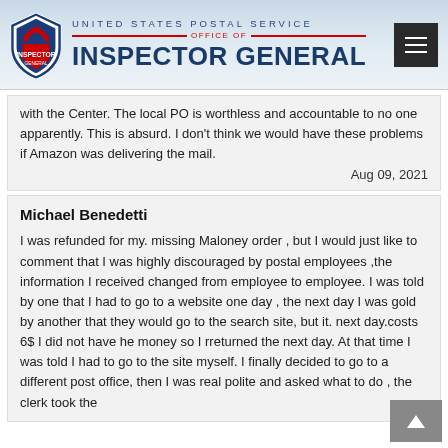United States Postal Service Office of Inspector General
with the Center. The local PO is worthless and accountable to no one apparently. This is absurd. I don't think we would have these problems if Amazon was delivering the mail.
Aug 09, 2021
Michael Benedetti
I was refunded for my. missing Maloney order , but I would just like to comment that I was highly discouraged by postal employees ,the information I received changed from employee to employee. I was told by one that I had to go to a website one day , the next day I was gold by another that they would go to the search site, but it. next day.costs 6$ I did not have he money so I rreturned the next day. At that time I was told I had to go to the site myself. I finally decided to go to a different post office, then I was real polite and asked what to do , the clerk took the